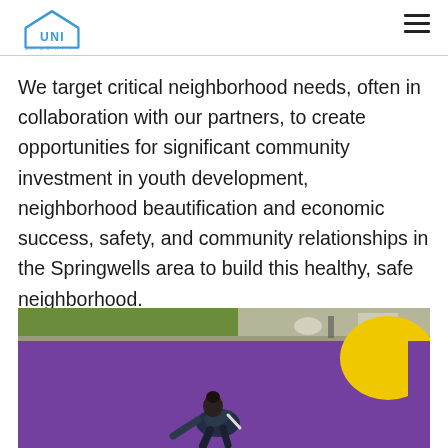[Figure (logo): UNI (United Neighborhood Inc.) logo with house icon and tagline 'Building Our Neighborhoods']
We target critical neighborhood needs, often in collaboration with our partners, to create opportunities for significant community investment in youth development, neighborhood beautification and economic success, safety, and community relationships in the Springwells area to build this healthy, safe neighborhood.
[Figure (photo): A person painting a mural on a road surface. The pavement is painted purple with a yellow circle. A sidewalk and grass strip are visible in the background along with painting supplies.]